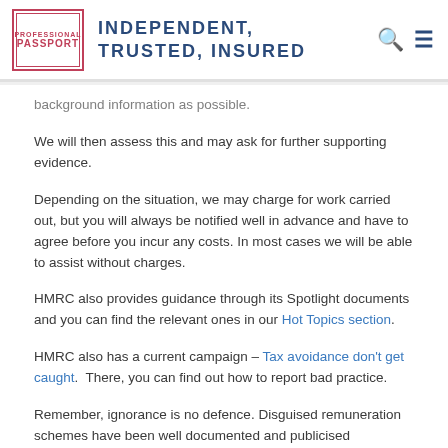INDEPENDENT, TRUSTED, INSURED
background information as possible.
We will then assess this and may ask for further supporting evidence.
Depending on the situation, we may charge for work carried out, but you will always be notified well in advance and have to agree before you incur any costs. In most cases we will be able to assist without charges.
HMRC also provides guidance through its Spotlight documents and you can find the relevant ones in our Hot Topics section.
HMRC also has a current campaign – Tax avoidance don't get caught.  There, you can find out how to report bad practice.
Remember, ignorance is no defence. Disguised remuneration schemes have been well documented and publicised throughout the supply chain and HMRC is likely to use all its powers to penalise those